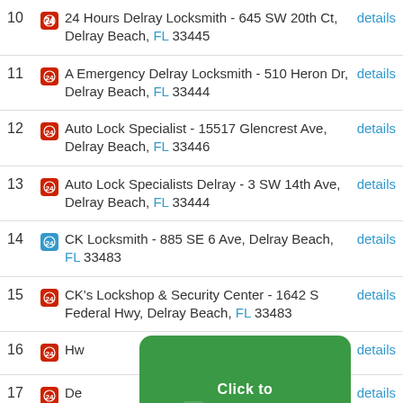10 24 Hours Delray Locksmith - 645 SW 20th Ct, Delray Beach, FL 33445
11 A Emergency Delray Locksmith - 510 Heron Dr, Delray Beach, FL 33444
12 Auto Lock Specialist - 15517 Glencrest Ave, Delray Beach, FL 33446
13 Auto Lock Specialists Delray - 3 SW 14th Ave, Delray Beach, FL 33444
14 CK Locksmith - 885 SE 6 Ave, Delray Beach, FL 33483
15 CK's Lockshop & Security Center - 1642 S Federal Hwy, Delray Beach, FL 33483
16 [partially obscured] Hwy, details
17 [partially obscured] De..., details
[Figure (infographic): Green rounded rectangle overlay banner reading 'Click to Call Now (321) 294-0415' with phone icon]